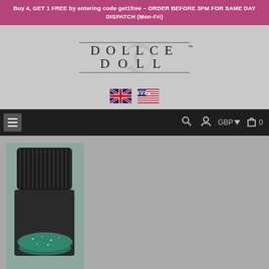Buy 4, GET 1 FREE by entering code get1free – ORDER BEFORE 3PM FOR SAME DAY DISPATCH (Mon–Fri)
[Figure (logo): Dollce Doll brand logo with stylized D letterform and horizontal rules, text DOLLCE DOLL with TM mark]
[Figure (infographic): UK flag and US flag icons for language/region selection]
[Figure (screenshot): Navigation bar with hamburger menu, search icon, account icon, GBP currency selector with dropdown, and cart icon showing 0 items]
[Figure (photo): Product photo showing a cosmetic glitter jar with dark ribbed black cap, teal/green glitter visible at bottom, on grey background]